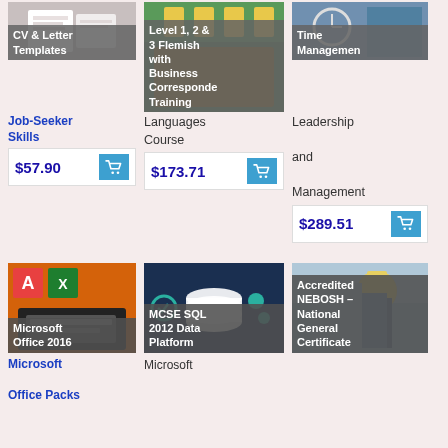[Figure (illustration): CV and letter templates product card image with overlay label 'CV & Letter Templates']
Job-Seeker Skills
$57.90
[Figure (illustration): Flemish language course card image with overlay label 'Level 1, 2 & 3 Flemish with Business Correspondence Training']
Languages Course
$173.71
[Figure (photo): Time management course card image with overlay label 'Time Management']
Leadership and Management
$289.51
[Figure (illustration): Microsoft Office 2016 course card with overlay label 'Microsoft Office 2016']
Microsoft Office Packs
[Figure (illustration): MCSE SQL 2012 Data Platform course card with overlay label 'MCSE SQL 2012 Data Platform']
Microsoft
[Figure (photo): Accredited NEBOSH National General Certificate course card with overlay label 'Accredited NEBOSH – National General Certificate']